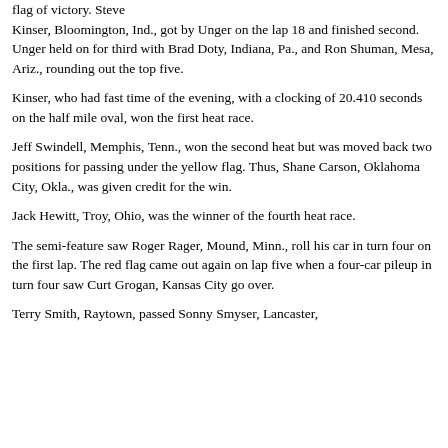flag of victory. Steve Kinser, Bloomington, Ind., got by Unger on the lap 18 and finished second. Unger held on for third with Brad Doty, Indiana, Pa., and Ron Shuman, Mesa, Ariz., rounding out the top five.
Kinser, who had fast time of the evening, with a clocking of 20.410 seconds on the half mile oval, won the first heat race.
Jeff Swindell, Memphis, Tenn., won the second heat but was moved back two positions for passing under the yellow flag. Thus, Shane Carson, Oklahoma City, Okla., was given credit for the win.
Jack Hewitt, Troy, Ohio, was the winner of the fourth heat race.
The semi-feature saw Roger Rager, Mound, Minn., roll his car in turn four on the first lap. The red flag came out again on lap five when a four-car pileup in turn four saw Curt Grogan, Kansas City go over.
Terry Smith, Raytown, passed Sonny Smyser, Lancaster,